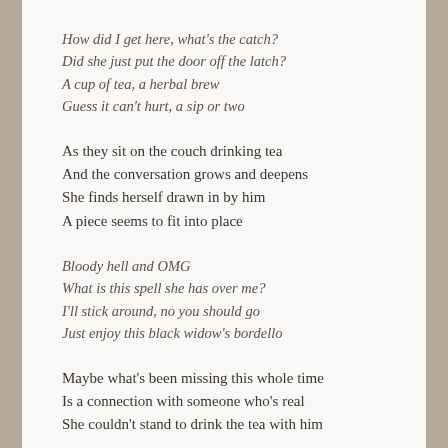How did I get here, what's the catch?
Did she just put the door off the latch?
A cup of tea, a herbal brew
Guess it can't hurt, a sip or two
As they sit on the couch drinking tea
And the conversation grows and deepens
She finds herself drawn in by him
A piece seems to fit into place
Bloody hell and OMG
What is this spell she has over me?
I'll stick around, no you should go
Just enjoy this black widow's bordello
Maybe what's been missing this whole time
Is a connection with someone who's real
She couldn't stand to drink the tea with him